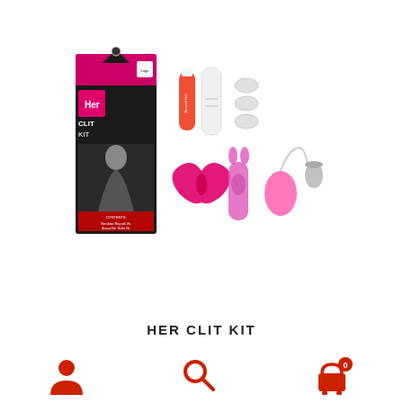[Figure (photo): Product photo showing Her Clit Kit package box (black box with pink accent, showing a woman and the text Her CLIT KIT) alongside the kit contents: a tube of lubricant, a white vibrator with interchangeable heads, a pink butterfly stimulator, a pink rabbit vibrator, a pink egg vibrator with remote, and a silver bullet vibrator.]
HER CLIT KIT
[Figure (other): Footer navigation bar with three icons: user/account icon (red), search icon (red), and shopping cart icon (red) with badge showing 0]